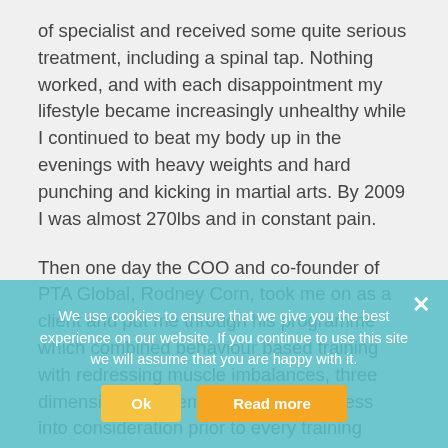of specialist and received some quite serious treatment, including a spinal tap. Nothing worked, and with each disappointment my lifestyle became increasingly unhealthy while I continued to beat my body up in the evenings with heavy weights and hard punching and kicking in martial arts. By 2009 I was almost 270lbs and in constant pain.
Then one day the COO and co-founder of PTA Global, Rodney Corn, took me on as a client and put me through his programme which combined behaviour based training with redressing muscle imbalances, three dimensional movement and taking stress into consideration prior to every training session and individual movement prescription. Within a month the problems that had burdened me for over a decade had improved considerably and within a few more they had all
We use cookies to ensure that we give you the best experience on our website. If you continue to use this site we will assume that you are happy with it.